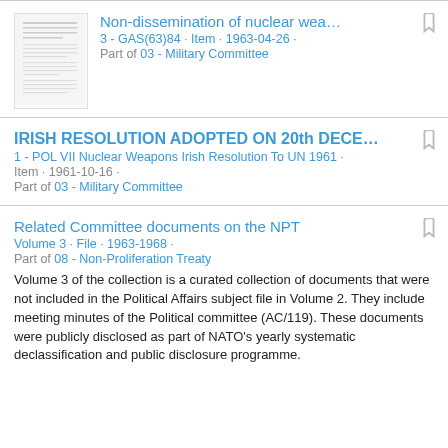Non-dissemination of nuclear wea... | 3 - GAS(63)84 · Item · 1963-04-26 · Part of 03 - Military Committee
IRISH RESOLUTION ADOPTED ON 20th DECE... | 1 - POL VII Nuclear Weapons Irish Resolution To UN 1961 · Item · 1961-10-16 · Part of 03 - Military Committee
Related Committee documents on the NPT | Volume 3 · File · 1963-1968 · Part of 08 - Non-Proliferation Treaty | Volume 3 of the collection is a curated collection of documents that were not included in the Political Affairs subject file in Volume 2. They include meeting minutes of the Political committee (AC/119). These documents were publicly disclosed as part of NATO's yearly systematic declassification and public disclosure programme.